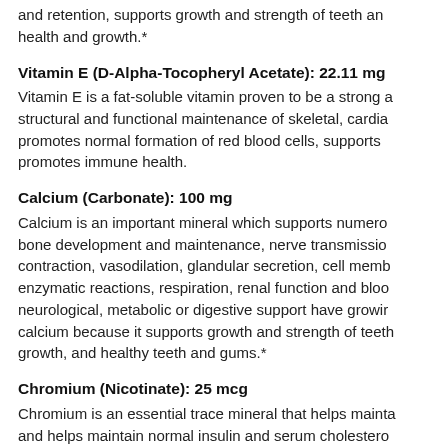and retention, supports growth and strength of teeth and health and growth.*
Vitamin E (D-Alpha-Tocopheryl Acetate): 22.11 mg
Vitamin E is a fat-soluble vitamin proven to be a strong antioxidant. It aids in structural and functional maintenance of skeletal, cardiac and smooth muscle, promotes normal formation of red blood cells, supports and promotes immune health.
Calcium (Carbonate): 100 mg
Calcium is an important mineral which supports numerous body functions: bone development and maintenance, nerve transmission, muscle contraction, vasodilation, glandular secretion, cell membrane permeability, enzymatic reactions, respiration, renal function and blood coagulation. neurological, metabolic or digestive support have growing evidence. Children calcium because it supports growth and strength of teeth and bones, bone growth, and healthy teeth and gums.*
Chromium (Nicotinate): 25 mcg
Chromium is an essential trace mineral that helps maintain and helps maintain normal insulin and serum cholesterol